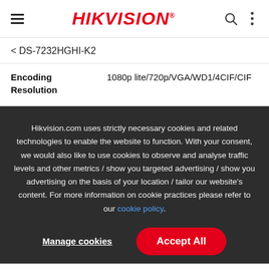HIKVISION
< DS-7232HGHI-K2
| Encoding Resolution | 1080p lite/720p/VGA/WD1/4CIF/CIF |
| --- | --- |
Hikvision.com uses strictly necessary cookies and related technologies to enable the website to function. With your consent, we would also like to use cookies to observe and analyse traffic levels and other metrics / show you targeted advertising / show you advertising on the basis of your location / tailor our website's content. For more information on cookie practices please refer to our cookie policy.
Manage cookies
Accept All